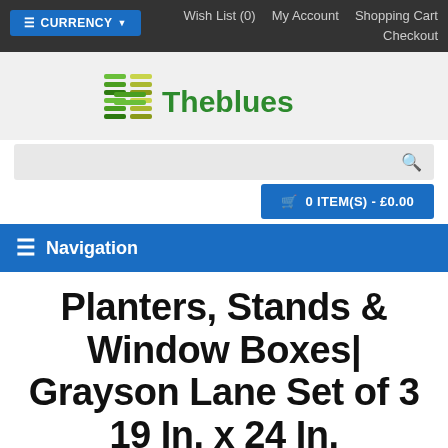CURRENCY | Wish List (0) | My Account | Shopping Cart | Checkout
[Figure (logo): Theblues logo with green stylized H icon and green text 'Theblues']
0 ITEM(S) - £0.00
Navigation
Planters, Stands & Window Boxes| Grayson Lane Set of 3 19 In. x 24 In.